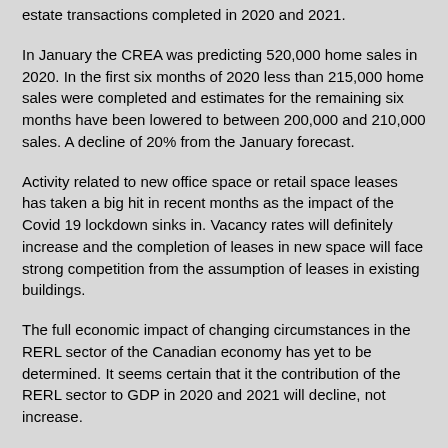estate transactions completed in 2020 and 2021.
In January the CREA was predicting 520,000 home sales in 2020. In the first six months of 2020 less than 215,000 home sales were completed and estimates for the remaining six months have been lowered to between 200,000 and 210,000 sales. A decline of 20% from the January forecast.
Activity related to new office space or retail space leases has taken a big hit in recent months as the impact of the Covid 19 lockdown sinks in. Vacancy rates will definitely increase and the completion of leases in new space will face strong competition from the assumption of leases in existing buildings.
The full economic impact of changing circumstances in the RERL sector of the Canadian economy has yet to be determined. It seems certain that it the contribution of the RERL sector to GDP in 2020 and 2021 will decline, not increase.
One could analyze the impact of the Covid 19 lockdown on each sector of the Canadian economy but there is a limit to how much bad news one can tolerate.
The Canadian economy was limping along at the end of 2019 and unlike